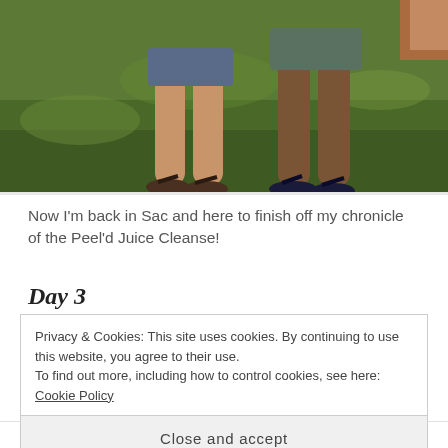[Figure (photo): Photo showing two people from the waist down, wearing shorts and flip-flops, standing on green grass. Only legs visible.]
Now I'm back in Sac and here to finish off my chronicle of the Peel'd Juice Cleanse!
Day 3
Privacy & Cookies: This site uses cookies. By continuing to use this website, you agree to their use.
To find out more, including how to control cookies, see here: Cookie Policy

Close and accept
dropped a couple of pounds from my normal weight